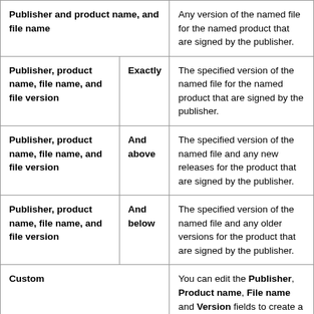| Properties | Condition | Results |
| --- | --- | --- |
| Publisher and product name, and file name |  | Any version of the named file for the named product that are signed by the publisher. |
| Publisher, product name, file name, and file version | Exactly | The specified version of the named file for the named product that are signed by the publisher. |
| Publisher, product name, file name, and file version | And above | The specified version of the named file and any new releases for the product that are signed by the publisher. |
| Publisher, product name, file name, and file version | And below | The specified version of the named file and any older versions for the product that are signed by the publisher. |
| Custom |  | You can edit the Publisher, Product name, File name and Version fields to create a custom |